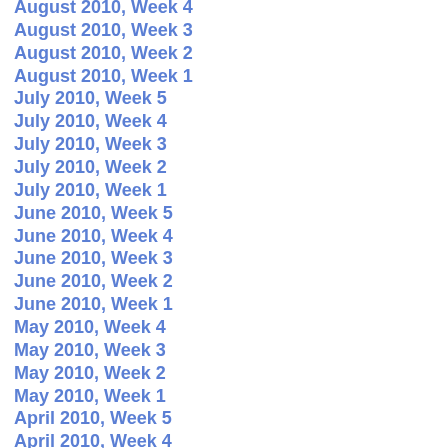August 2010, Week 4
August 2010, Week 3
August 2010, Week 2
August 2010, Week 1
July 2010, Week 5
July 2010, Week 4
July 2010, Week 3
July 2010, Week 2
July 2010, Week 1
June 2010, Week 5
June 2010, Week 4
June 2010, Week 3
June 2010, Week 2
June 2010, Week 1
May 2010, Week 4
May 2010, Week 3
May 2010, Week 2
May 2010, Week 1
April 2010, Week 5
April 2010, Week 4
April 2010, Week 3
April 2010, Week 2
April 2010, Week 1
March 2010, Week 5
March 2010, Week 4
March 2010, Week 3
March 2010, Week 2
March 2010, Week 1
February 2010, Week 4
February 2010, Week 3
February 2010, Week 2